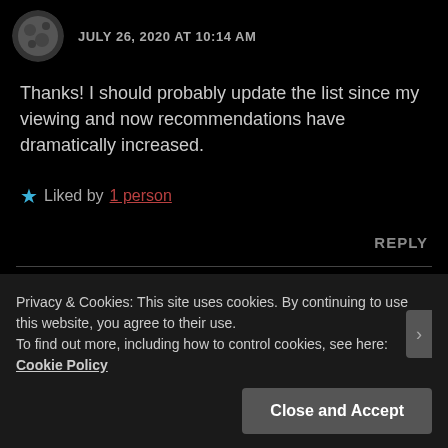JULY 26, 2020 AT 10:14 AM
Thanks! I should probably update the list since my viewing and now recommendations have dramatically increased.
★ Liked by 1 person
REPLY
Privacy & Cookies: This site uses cookies. By continuing to use this website, you agree to their use.
To find out more, including how to control cookies, see here: Cookie Policy
Close and Accept